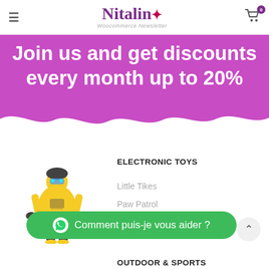Nitalin — Woocommerce Newsletter
Join us and get discounts every month up to 20%
ELECTRONIC TOYS
Little Tikes
Paw Patrol
Vtech Infant
[Figure (illustration): Yellow Transformers robot toy figure (Bumblebee)]
Comment puis-je vous aider ?
OUTDOOR & SPORTS